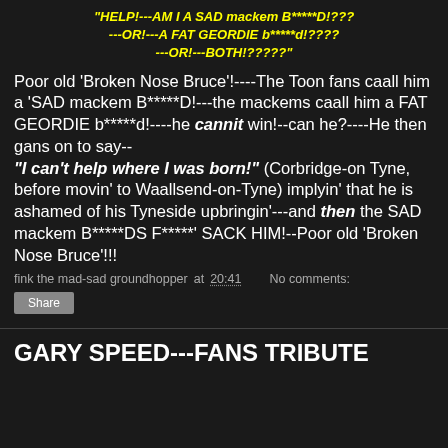"HELP!---AM I A SAD mackem B*****D!??? ---OR!---A FAT GEORDIE b*****d!???? ---OR!---BOTH!?????"
Poor old 'Broken Nose Bruce'!----The Toon fans caall him a 'SAD mackem B*****D!---the mackems caall him a FAT GEORDIE b*****d!----he cannit win!--can he?----He then gans on to say-- "I can't help where I was born!" (Corbridge-on Tyne, before movin' to Waallsend-on-Tyne) implyin' that he is ashamed of his Tyneside upbringin'---and then the SAD mackem B*****DS F*****' SACK HIM!--Poor old 'Broken Nose Bruce'!!!
fink the mad-sad groundhopper at 20:41    No comments:
Share
GARY SPEED---FANS TRIBUTE